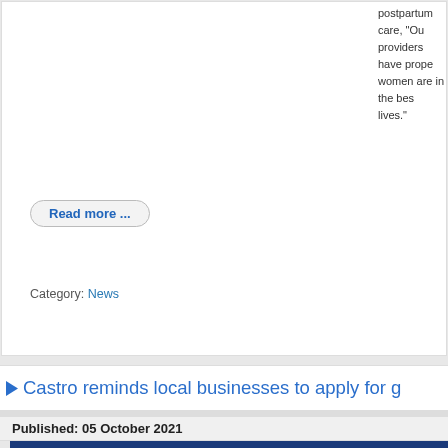postpartum care, "Our providers have proper women are in the best lives."
Read more ...
Category: News
Castro reminds local businesses to apply for g
Published: 05 October 2021
[Figure (infographic): Back 2 Business Small Business Recovery Grants advertisement banner. Dark blue background with orange accent curve. Shows Illinois state outline logo with 'BACK 2 BUSINESS SMALL BUSINESS RECOVERY GRANTS' text. Text reads: 'Attention Illinois Small...' '$250 Million now availab... Back 2 Business (B2B...' '$5K – $150K Grants Available'. Photo of a woman partially visible on the right side.]